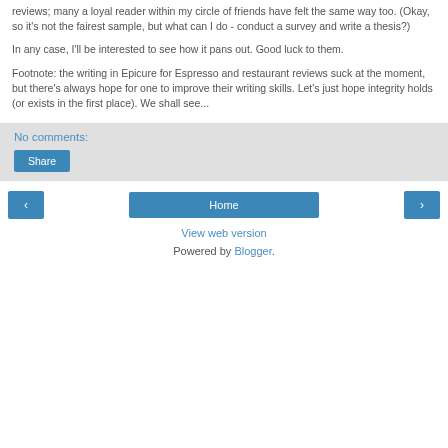reviews; many a loyal reader within my circle of friends have felt the same way too. (Okay, so it's not the fairest sample, but what can I do - conduct a survey and write a thesis?)
In any case, I'll be interested to see how it pans out. Good luck to them.
Footnote: the writing in Epicure for Espresso and restaurant reviews suck at the moment, but there's always hope for one to improve their writing skills. Let's just hope integrity holds (or exists in the first place). We shall see...
No comments:
Share
‹
Home
›
View web version
Powered by Blogger.